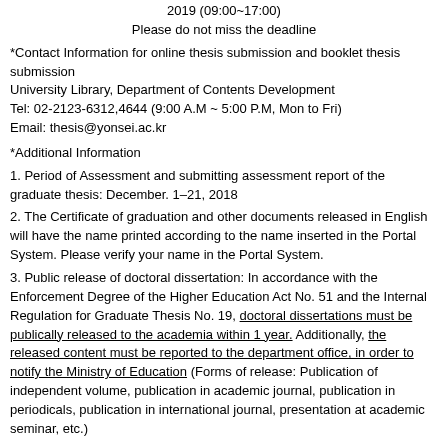2019 (09:00~17:00)
Please do not miss the deadline
*Contact Information for online thesis submission and booklet thesis submission
University Library, Department of Contents Development
Tel: 02-2123-6312,4644 (9:00 A.M ~ 5:00 P.M, Mon to Fri)
Email: thesis@yonsei.ac.kr
*Additional Information
1. Period of Assessment and submitting assessment report of the graduate thesis: December. 1–21, 2018
2. The Certificate of graduation and other documents released in English will have the name printed according to the name inserted in the Portal System. Please verify your name in the Portal System.
3. Public release of doctoral dissertation: In accordance with the Enforcement Degree of the Higher Education Act No. 51 and the Internal Regulation for Graduate Thesis No. 19, doctoral dissertations must be publically released to the academia within 1 year. Additionally, the released content must be reported to the department office, in order to notify the Ministry of Education (Forms of release: Publication of independent volume, publication in academic journal, publication in periodicals, publication in international journal, presentation at academic seminar, etc.)